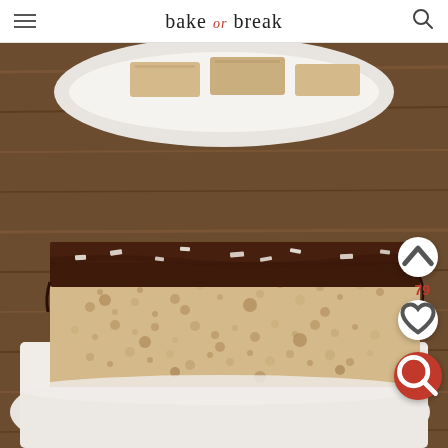bake or break
[Figure (photo): A rice crispy treat bar with thick dark chocolate ganache topping sprinkled with flaky sea salt, sitting on a white plate. In the background is a bowl with more rice crispy bars. The scene is set on a rustic wooden surface.]